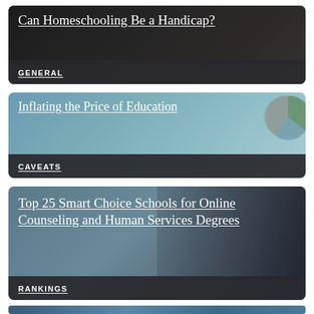Can Homeschooling Be a Handicap?
GENERAL
Inflating the Price of Education
CAVEATS
Top 25 Smart Choice Schools for Online Counseling and Human Services Degrees
RANKINGS
[Figure (photo): Partial view of a fourth article card at the bottom of the page, showing a blurred screenshot-style image]